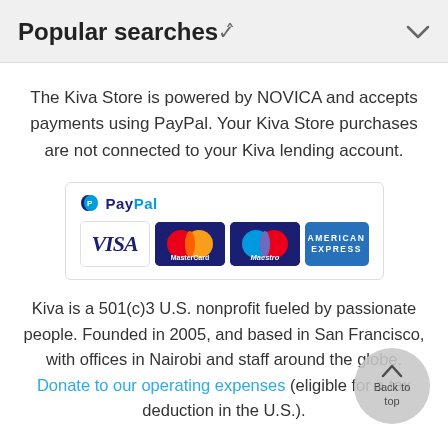Popular searches
The Kiva Store is powered by NOVICA and accepts payments using PayPal. Your Kiva Store purchases are not connected to your Kiva lending account.
[Figure (logo): PayPal payment accepted badge showing PayPal logo, VISA, MasterCard, Maestro, and American Express card logos]
Kiva is a 501(c)3 U.S. nonprofit fueled by passionate people. Founded in 2005, and based in San Francisco, with offices in Nairobi and staff around the globe. Donate to our operating expenses (eligible for a tax deduction in the U.S.).